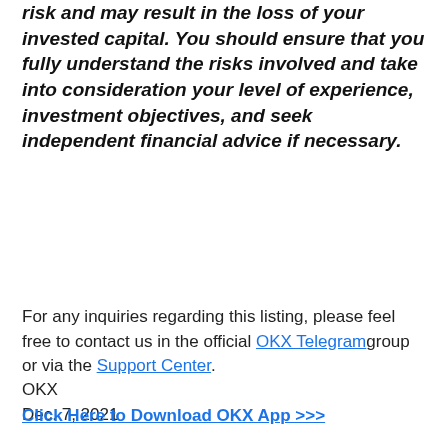risk and may result in the loss of your invested capital. You should ensure that you fully understand the risks involved and take into consideration your level of experience, investment objectives, and seek independent financial advice if necessary.
For any inquiries regarding this listing, please feel free to contact us in the official OKX Telegram group or via the Support Center.
OKX
Dec. 7, 2021
Click Here to Download OKX App >>>